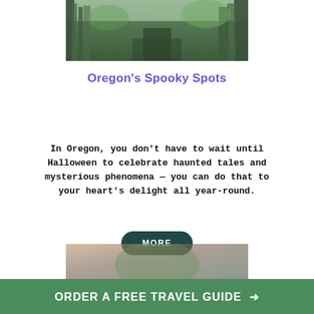[Figure (photo): A misty forest path with dense green foliage and trees on both sides, appearing eerie and atmospheric]
Oregon's Spooky Spots
In Oregon, you don't have to wait until Halloween to celebrate haunted tales and mysterious phenomena — you can do that to your heart's delight all year-round.
[Figure (other): A dark teal rounded button with white uppercase text reading MORE]
[Figure (photo): Partial photo visible at bottom of page, appears to show a person or figure with green tones]
ORDER A FREE TRAVEL GUIDE →